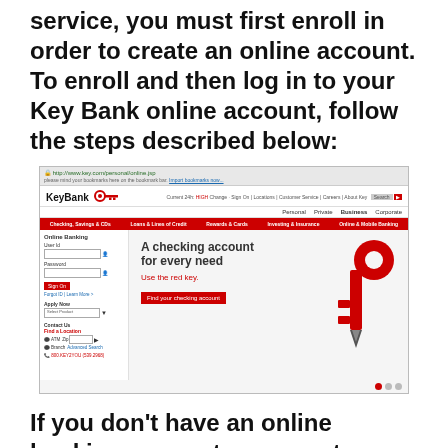service, you must first enroll in order to create an online account. To enroll and then log in to your Key Bank online account, follow the steps described below:
[Figure (screenshot): Screenshot of KeyBank website homepage showing the Online Banking login sidebar, red navigation bar with Checking/Savings, Loans, Rewards, Investing, Online Banking tabs, and main content area with 'A checking account for every need / Use the red key.' headline and a red key graphic.]
If you don't have an online banking account, you must go through the online banking enrollment process